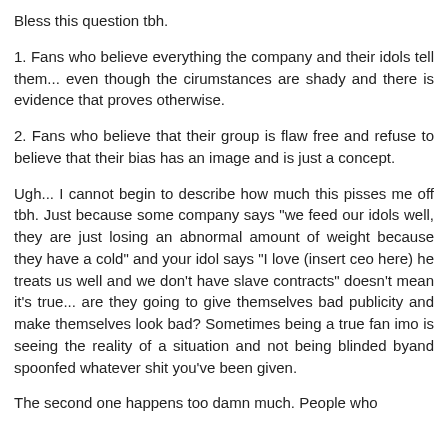Bless this question tbh.
1. Fans who believe everything the company and their idols tell them... even though the cirumstances are shady and there is evidence that proves otherwise.
2. Fans who believe that their group is flaw free and refuse to believe that their bias has an image and is just a concept.
Ugh... I cannot begin to describe how much this pisses me off tbh. Just because some company says "we feed our idols well, they are just losing an abnormal amount of weight because they have a cold" and your idol says "I love (insert ceo here) he treats us well and we don't have slave contracts" doesn't mean it's true... are they going to give themselves bad publicity and make themselves look bad? Sometimes being a true fan imo is seeing the reality of a situation and not being blinded byand spoonfed whatever shit you've been given.
The second one happens too damn much. People who